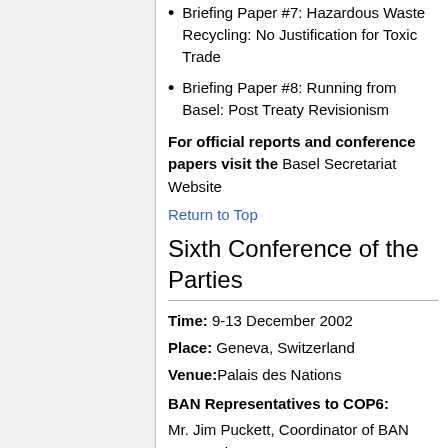Briefing Paper #7: Hazardous Waste Recycling: No Justification for Toxic Trade
Briefing Paper #8: Running from Basel: Post Treaty Revisionism
For official reports and conference papers visit the Basel Secretariat Website
Return to Top
Sixth Conference of the Parties
Time: 9-13 December 2002
Place: Geneva, Switzerland
Venue: Palais des Nations
BAN Representatives to COP6:
Mr. Jim Puckett, Coordinator of BAN Secretariat